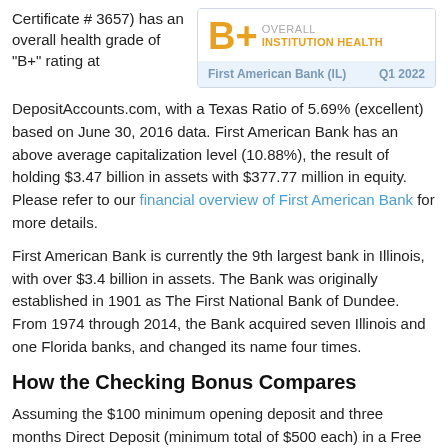Certificate # 3657) has an overall health grade of "B+" rating at
[Figure (infographic): B+ overall institution health grade box for First American Bank (IL), Q1 2022]
DepositAccounts.com, with a Texas Ratio of 5.69% (excellent) based on June 30, 2016 data. First American Bank has an above average capitalization level (10.88%), the result of holding $3.47 billion in assets with $377.77 million in equity. Please refer to our financial overview of First American Bank for more details.
First American Bank is currently the 9th largest bank in Illinois, with over $3.4 billion in assets. The Bank was originally established in 1901 as The First National Bank of Dundee. From 1974 through 2014, the Bank acquired seven Illinois and one Florida banks, and changed its name four times.
How the Checking Bonus Compares
Assuming the $100 minimum opening deposit and three months Direct Deposit (minimum total of $500 each) in a Free